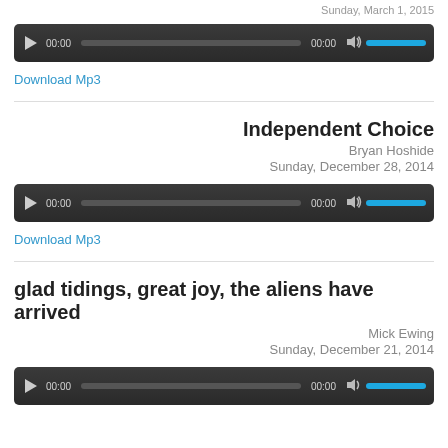Sunday, March 1, 2015
[Figure (other): Audio player widget with play button, time display 00:00, progress bar, time 00:00, speaker icon, and blue volume bar]
Download Mp3
Independent Choice
Bryan Hoshide
Sunday, December 28, 2014
[Figure (other): Audio player widget with play button, time display 00:00, progress bar, time 00:00, speaker icon, and blue volume bar]
Download Mp3
glad tidings, great joy, the aliens have arrived
Mick Ewing
Sunday, December 21, 2014
[Figure (other): Audio player widget partially visible at bottom of page]